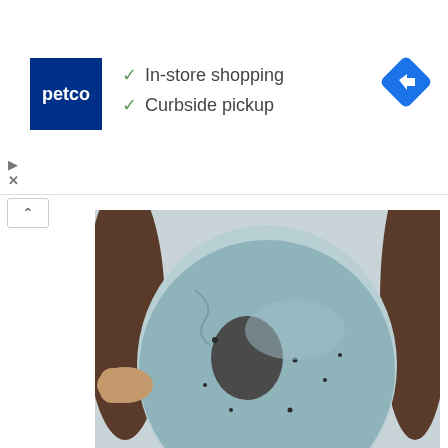[Figure (photo): Petco advertisement banner showing petco logo, checkmarks for In-store shopping and Curbside pickup, and a blue navigation arrow icon]
[Figure (photo): Close-up photo of a person's face with a blue/grey clay face mask applied, partially peeling off around the nose area]
Doctors Stunned: This Removes Wrinkles & Eye-bags Like Crazy (Try Tonight)
Trending New Finds
[Figure (photo): Partial bottom strip of a second article image with colorful background, partially visible]